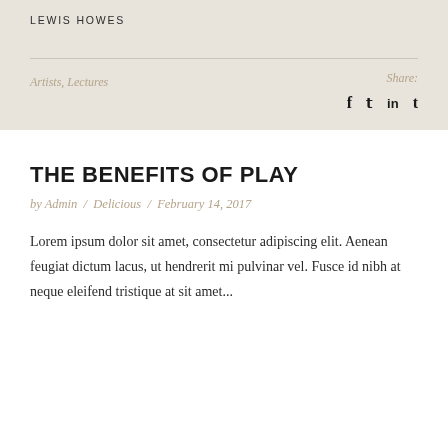LEWIS HOWES
Artists, Lectures
Share:
THE BENEFITS OF PLAY
by Admin / Delicious / February 14, 2017
Lorem ipsum dolor sit amet, consectetur adipiscing elit. Aenean feugiat dictum lacus, ut hendrerit mi pulvinar vel. Fusce id nibh at neque eleifend tristique at sit amet...